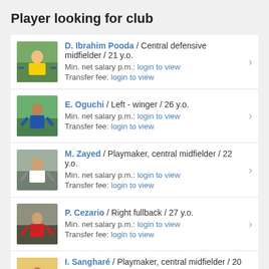Player looking for club
D. Ibrahim Pooda / Central defensive midfielder / 21 y.o. | Min. net salary p.m.: login to view | Transfer fee: login to view
E. Oguchi / Left - winger / 26 y.o. | Min. net salary p.m.: login to view | Transfer fee: login to view
M. Zayed / Playmaker, central midfielder / 22 y.o. | Min. net salary p.m.: login to view | Transfer fee: login to view
P. Cezario / Right fullback / 27 y.o. | Min. net salary p.m.: login to view | Transfer fee: login to view
I. Sangharé / Playmaker, central midfielder / 20 y.o. | Min. net salary p.m.: login to view | Transfer fee: login to view
▶ view all ads